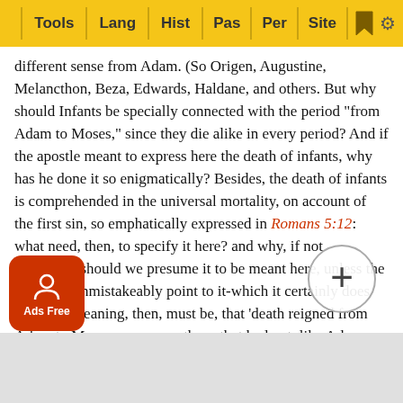Tools | Lang | Hist | Pas | Per | Site
different sense from Adam. (So Origen, Augustine, Melancthon, Beza, Edwards, Haldane, and others. But why should Infants be specially connected with the period "from Adam to Moses," since they die alike in every period? And if the apostle meant to express here the death of infants, why has he done it so enigmatically? Besides, the death of infants is comprehended in the universal mortality, on account of the first sin, so emphatically expressed in Romans 5:12: what need, then, to specify it here? and why, if not necessary, should we presume it to be meant here, unless the language unmistakeably point to it-which it certainly does not? The meaning, then, must be, that 'death reigned from Adam to Moses, oven over those that had not, like Adam, transgressed against a positive commandment, threatening death to the disobedient.' (So most interpreters.) In this case, the particle "even," instead of specifying one particular class of those view suppo ase